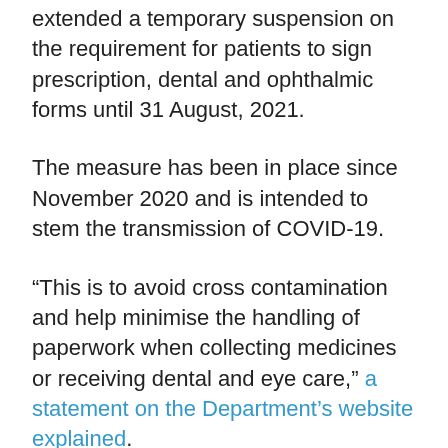extended a temporary suspension on the requirement for patients to sign prescription, dental and ophthalmic forms until 31 August, 2021.
The measure has been in place since November 2020 and is intended to stem the transmission of COVID-19.
“This is to avoid cross contamination and help minimise the handling of paperwork when collecting medicines or receiving dental and eye care,” a statement on the Department’s website explained.
Patients are still required to either pay the relevant charge or prove they are exempt from